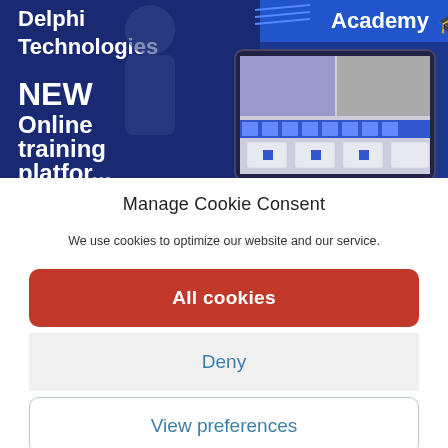[Figure (screenshot): Delphi Technologies Academy banner showing 'NEW Online training platform' text on blue background with a tablet device displaying training modules.]
Manage Cookie Consent
We use cookies to optimize our website and our service.
All cookies
Deny
View preferences